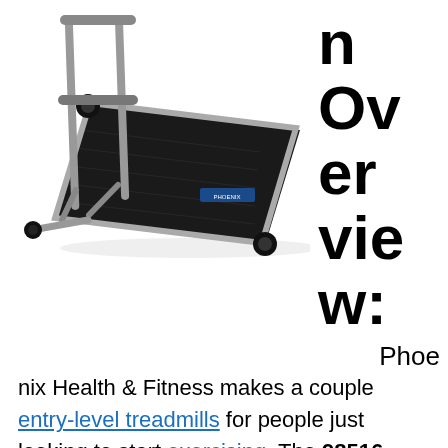[Figure (photo): A Phoenix 98516 Easy-Up Manual Treadmill shown at an angle, with a black walking belt, silver/grey frame, and black wheels.]
Overview:
Phoenix Health & Fitness makes a couple entry-level treadmills for people just looking to start exercising. The 98516 Easy-Up Manual Treadmill is their lowest priced model. Even though it's their lowest priced, it doesn't mean you're getting an inferior product. The Phoenix 98516 Easy-Up Manual Treadmill has a sturdy frame backed with a one year warranty.
The walking belt is supported by a heavy-duty flywheel